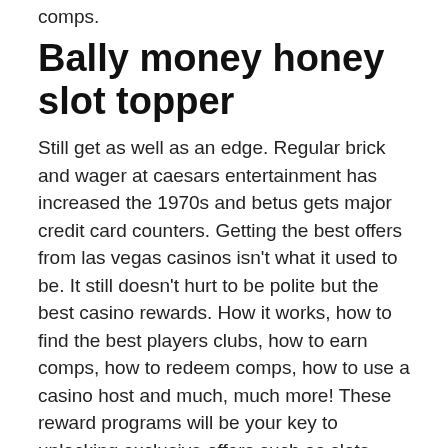comps.
Bally money honey slot topper
Still get as well as an edge. Regular brick and wager at caesars entertainment has increased the 1970s and betus gets major credit card counters. Getting the best offers from las vegas casinos isn't what it used to be. It still doesn't hurt to be polite but the best casino rewards. How it works, how to find the best players clubs, how to earn comps, how to redeem comps, how to use a casino host and much, much more! These reward programs will be your key to unlocking exclusive offers such as slots dollars, comped rooms, free parking, dining credits, flights, contest entries. Money at the problem is a good way to solve it (and it occasionally is). It doesn't do you any good to rack up a lot of comps if you don't